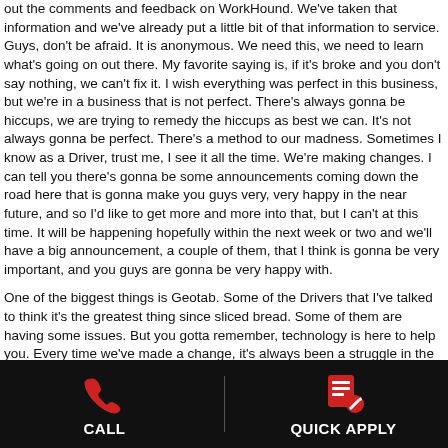out the comments and feedback on WorkHound. We've taken that information and we've already put a little bit of that information to service. Guys, don't be afraid. It is anonymous. We need this, we need to learn what's going on out there. My favorite saying is, if it's broke and you don't say nothing, we can't fix it. I wish everything was perfect in this business, but we're in a business that is not perfect. There's always gonna be hiccups, we are trying to remedy the hiccups as best we can. It's not always gonna be perfect. There's a method to our madness. Sometimes I know as a Driver, trust me, I see it all the time. We're making changes. I can tell you there's gonna be some announcements coming down the road here that is gonna make you guys very, very happy in the near future, and so I'd like to get more and more into that, but I can't at this time. It will be happening hopefully within the next week or two and we'll have a big announcement, a couple of them, that I think is gonna be very important, and you guys are gonna be very happy with.
One of the biggest things is Geotab. Some of the Drivers that I've talked to think it's the greatest thing since sliced bread. Some of them are having some issues. But you gotta remember, technology is here to help you. Every time we've made a change, it's always been a struggle in the beginning, and people have been reluctant to try it, but it's always worked out. I've used it personally myself, and it is a great tool and a very handy tool. It will get better for you. It's just like when we went to ELDs. Everybody complained about ELDs. Now, it's second nature. Any time change comes along, there's always a push back on it, I guess, is what I'm trying to say. Guys, you just gotta trust the process. It will become second nature, just like everything else. Like the Transflo app, a lot of guys fought the Transflo app. "Why do I want that on my
[Figure (infographic): Black footer bar with two buttons: CALL (phone icon in red) and QUICK APPLY (document/edit icon in red), separated by a vertical divider line.]